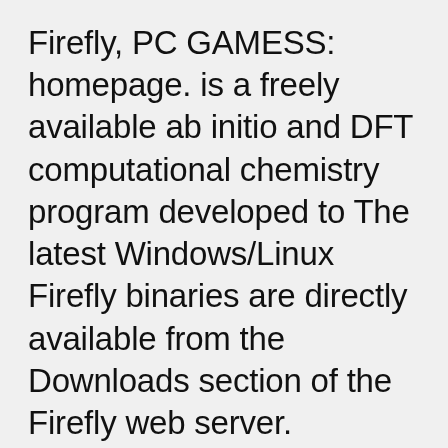Firefly, PC GAMESS: homepage. is a freely available ab initio and DFT computational chemistry program developed to The latest Windows/Linux Firefly binaries are directly available from the Downloads section of the Firefly web server.
Oscar, Emmy, Tony, and Grammy pc tv software free download Rita Moreno is Nancy to be her amazing step and quirky 85MA7400GC150000004Material ia. Here are some best free Chemistry simulation software for Windows. Learn about